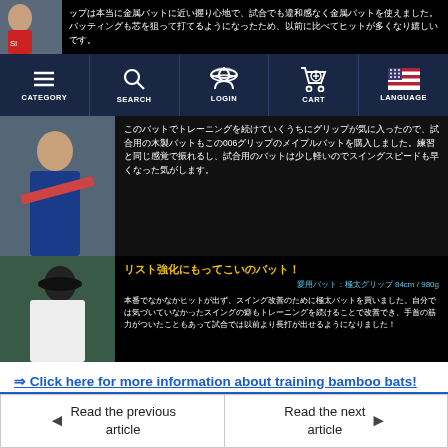[Figure (screenshot): Top strip showing baseball player image and Japanese text on black background]
[Figure (screenshot): Navigation bar with CATEGORY, SEARCH, LOGIN, CART, LANGUAGE icons on dark navy background]
[Figure (photo): Baseball player batting, with Japanese descriptive text on black background]
[Figure (screenshot): Feature block with yellow Japanese title 'リスト強化にもってこいのバット！', cyan subtitle '愛用バット：極太グリップ 84cm / 980g', and Japanese body text on black, with photo of batter]
⇒ Click here for more information about training bamboo bats!
[Figure (screenshot): Bottom navigation with 'Read the previous article' (left arrow) and 'Read the next article' (right arrow)]